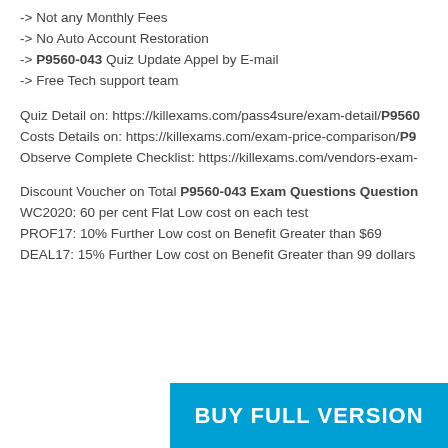-> Not any Monthly Fees
-> No Auto Account Restoration
-> P9560-043 Quiz Update Appel by E-mail
-> Free Tech support team
Quiz Detail on: https://killexams.com/pass4sure/exam-detail/P9560...
Costs Details on: https://killexams.com/exam-price-comparison/P9...
Observe Complete Checklist: https://killexams.com/vendors-exam-...
Discount Voucher on Total P9560-043 Exam Questions Question...
WC2020: 60 per cent Flat Low cost on each test
PROF17: 10% Further Low cost on Benefit Greater than $69
DEAL17: 15% Further Low cost on Benefit Greater than 99 dollars
[Figure (other): Blue banner with text BUY FULL VERSION]